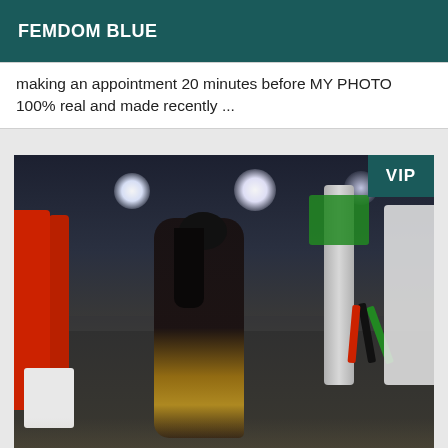FEMDOM BLUE
making an appointment 20 minutes before MY PHOTO 100% real and made recently ...
[Figure (photo): A person posing at a gas station at night, standing near fuel pumps. The scene is lit by overhead lights. A VIP badge appears in the upper-right corner of the image.]